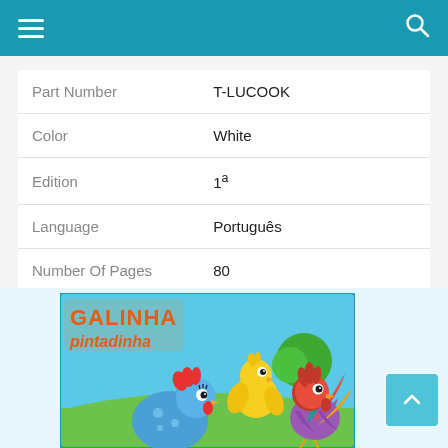Navigation header with hamburger menu and search icon
| Attribute | Value |
| --- | --- |
| Part Number | T-LUCOOK |
| Color | White |
| Edition | 1ª |
| Language | Português |
| Number Of Pages | 80 |
| Publication Date | 2021-11-09T00:00:01Z |
| Format | Edição padrão |
[Figure (illustration): Book cover of 'Galinha Pintadinha' children's book showing cartoon characters: a spotted blue hen, a yellow chick, and a colorful rooster on a green meadow with a tree in the background. The title 'GALINHA pintadinha' is shown in orange/red text.]